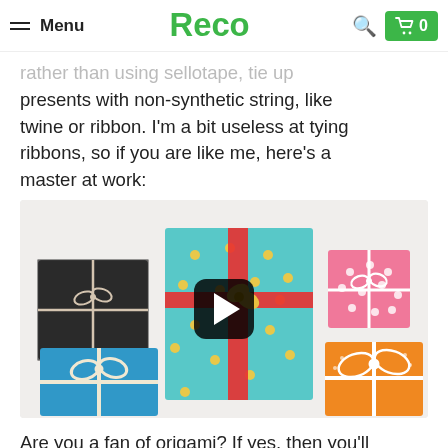Menu | Reco | Search | Cart 0
rather than using sellotape, tie up presents with non-synthetic string, like twine or ribbon. I'm a bit useless at tying ribbons, so if you are like me, here's a master at work:
[Figure (photo): Photo of several colorfully wrapped gift boxes with ribbons and bows — black box with twine bow, teal box with red ribbon and gold dots, small pink box with white bow, blue box with white ribbon bow, orange box with white lace bow — with a YouTube play button overlay in the center.]
Are you a fan of origami? If yes, then you'll